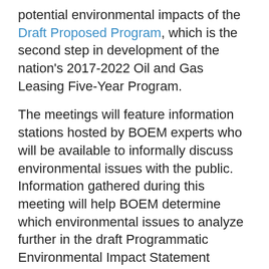potential environmental impacts of the Draft Proposed Program, which is the second step in development of the nation's 2017-2022 Oil and Gas Leasing Five-Year Program.
The meetings will feature information stations hosted by BOEM experts who will be available to informally discuss environmental issues with the public. Information gathered during this meeting will help BOEM determine which environmental issues to analyze further in the draft Programmatic Environmental Impact Statement (PEIS) being prepared for the 2017-2022 oil and gas leasing program. In addition to information stations, attendees will be able to provide hand-written or electronic comments on-site and any other information they feel can assist BOEM in developing the draft PEIS.
The meeting will take place at the Sheraton Norfolk Waterside, 777 Waterside Drive, Norfolk, VA on